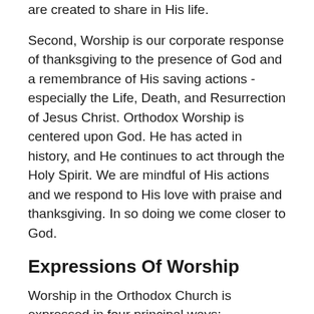are created to share in His life.
Second, Worship is our corporate response of thanksgiving to the presence of God and a remembrance of His saving actions - especially the Life, Death, and Resurrection of Jesus Christ. Orthodox Worship is centered upon God. He has acted in history, and He continues to act through the Holy Spirit. We are mindful of His actions and we respond to His love with praise and thanksgiving. In so doing we come closer to God.
Expressions Of Worship
Worship in the Orthodox Church is expressed in four principal ways:
The Eucharist, which is the most important assembly or sharing of Orthodox Eucharist